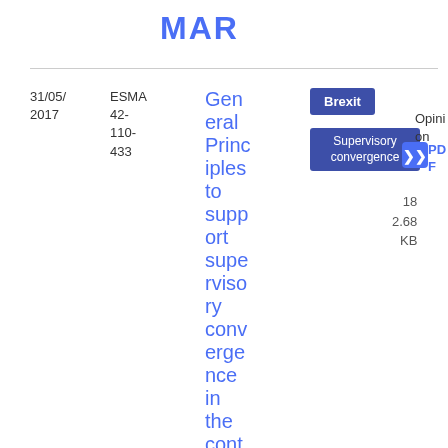MAR
31/05/2017
ESMA 42-110-433
General Principles to support supervisory convergence in the context of the UK
Brexit
Supervisory convergence
Opinion
PDF
18 2.68 KB